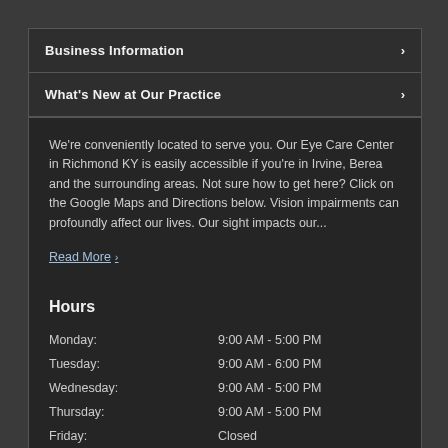Business Information
What's New at Our Practice
We're conveniently located to serve you. Our Eye Care Center in Richmond KY is easily accessible if you're in Irvine, Berea and the surrounding areas. Not sure how to get here? Click on the Google Maps and Directions below. Vision impairments can profoundly affect our lives. Our sight impacts our...
Read More
Hours
| Day | Hours |
| --- | --- |
| Monday: | 9:00 AM - 5:00 PM |
| Tuesday: | 9:00 AM - 6:00 PM |
| Wednesday: | 9:00 AM - 5:00 PM |
| Thursday: | 9:00 AM - 5:00 PM |
| Friday: | Closed |